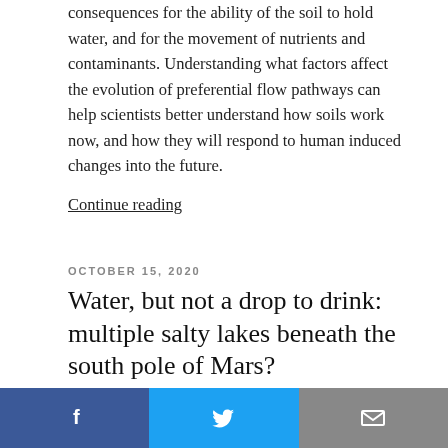consequences for the ability of the soil to hold water, and for the movement of nutrients and contaminants. Understanding what factors affect the evolution of preferential flow pathways can help scientists better understand how soils work now, and how they will respond to human induced changes into the future.
Continue reading
OCTOBER 15, 2020
Water, but not a drop to drink: multiple salty lakes beneath the south pole of Mars?
[Figure (photo): Aerial/satellite photograph of the surface of Mars showing reddish-brown terrain with dark patches and surface features]
[Figure (other): reCAPTCHA widget partial view]